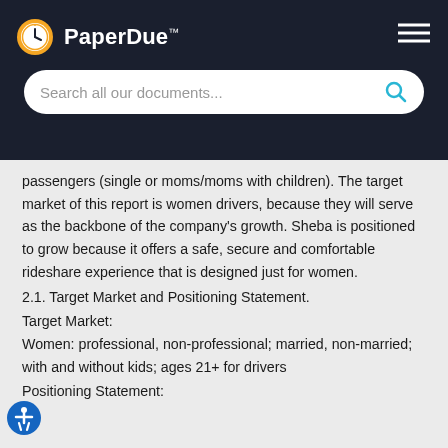PaperDue™ — Search all our documents...
passengers (single or moms/moms with children). The target market of this report is women drivers, because they will serve as the backbone of the company's growth. Sheba is positioned to grow because it offers a safe, secure and comfortable rideshare experience that is designed just for women.
2.1. Target Market and Positioning Statement.
Target Market:
Women: professional, non-professional; married, non-married; with and without kids; ages 21+ for drivers
Positioning Statement: